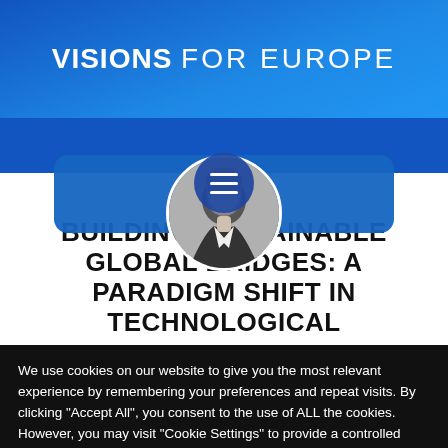VISIONS FOR EUROPE
[Figure (screenshot): Website screenshot showing Visions For Europe header with blue gradient background, hamburger menu icon, circular avatar photo of a person, and article title 'BUILDING SUSTAINABLE GLOBAL BRIDGES: A PARADIGM SHIFT IN TECHNOLOGICAL']
BUILDING SUSTAINABLE GLOBAL BRIDGES: A PARADIGM SHIFT IN TECHNOLOGICAL
We use cookies on our website to give you the most relevant experience by remembering your preferences and repeat visits. By clicking "Accept All", you consent to the use of ALL the cookies. However, you may visit "Cookie Settings" to provide a controlled consent.
Cookie Settings | Accept All